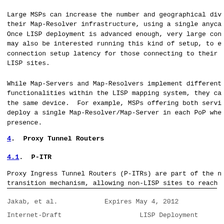Large MSPs can increase the number and geographical div their Map-Resolver infrastructure, using a single anyca Once LISP deployment is advanced enough, very large con may also be interested running this kind of setup, to e connection setup latency for those connecting to their LISP sites.
While Map-Servers and Map-Resolvers implement different functionalities within the LISP mapping system, they ca the same device.  For example, MSPs offering both servi deploy a single Map-Resolver/Map-Server in each PoP whe presence.
4.  Proxy Tunnel Routers
4.1.  P-ITR
Proxy Ingress Tunnel Routers (P-ITRs) are part of the n transition mechanism, allowing non-LISP sites to reach
Jakab, et al.            Expires May 4, 2012
Internet-Draft                    LISP Deployment
They announce via BGP certain EID prefixes (aggregated,